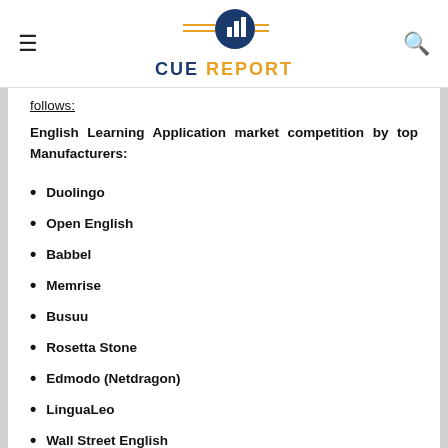CUE REPORT
follows:
English Learning Application market competition by top Manufacturers:
Duolingo
Open English
Babbel
Memrise
Busuu
Rosetta Stone
Edmodo (Netdragon)
LinguaLeo
Wall Street English